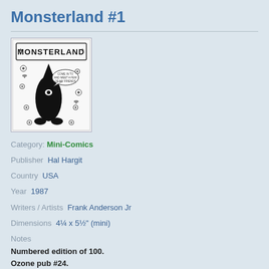Monsterland #1
[Figure (illustration): Cover art of Monsterland #1 mini-comic showing a black silhouette monster figure in front of a banner reading MONSTERLAND, with small alien/monster doodles in the background, drawn in black ink on white paper.]
Category: Mini-Comics
Publisher  Hal Hargit
Country  USA
Year  1987
Writers / Artists  Frank Anderson Jr
Dimensions  4¼ x 5½" (mini)
Notes
Numbered edition of 100.
Ozone pub #24.